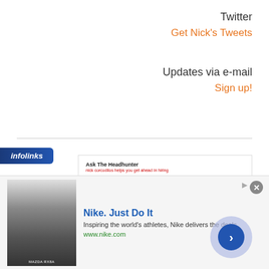Twitter
Get Nick's Tweets
Updates via e-mail
Sign up!
[Figure (illustration): Book cover for 'fearless job hunting - The Complete Collection, Books One to Nine' by Ask The Headhunter, with blue bar chart bars in lower left]
infolinks
Nike. Just Do It
Inspiring the world's athletes, Nike delivers the deals
www.nike.com